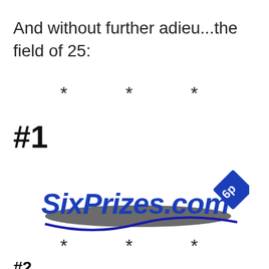And without further adieu...the field of 25:
* * *
#1
[Figure (logo): SixPrizes.com logo with blue bold italic text, gray swoosh ellipse underneath, and a blue diamond badge with '6p' in white text in upper right]
* * *
#2